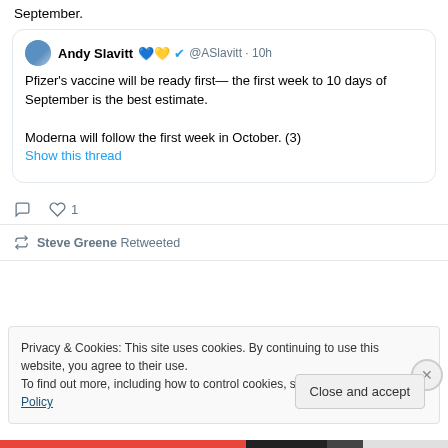September.
[Figure (screenshot): Embedded tweet from Andy Slavitt (@ASlavitt) posted 10h ago. Tweet text: 'Pfizer's vaccine will be ready first— the first week to 10 days of September is the best estimate. Moderna will follow the first week in October. (3)' with a 'Show this thread' link. Below: comment icon, heart icon with count 1.]
Steve Greene Retweeted
Privacy & Cookies: This site uses cookies. By continuing to use this website, you agree to their use.
To find out more, including how to control cookies, see here: Cookie Policy
Close and accept